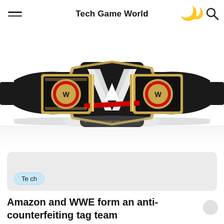Tech Game World
[Figure (photo): WWE Championship belt with gold and black design, large W logo on center plate, two side plates with circular WWE logos, red accent stripe, photographed on white background with reflection below.]
Tech
Amazon and WWE form an anti-counterfeiting tag team